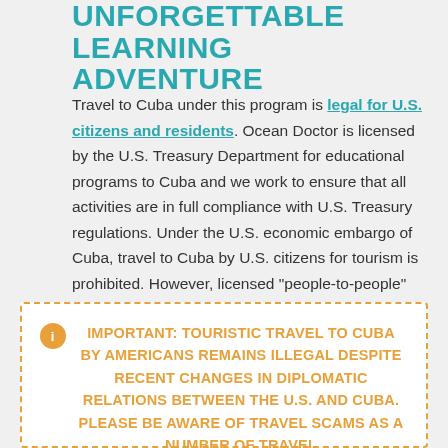UNFORGETTABLE LEARNING ADVENTURE
Travel to Cuba under this program is legal for U.S. citizens and residents. Ocean Doctor is licensed by the U.S. Treasury Department for educational programs to Cuba and we work to ensure that all activities are in full compliance with U.S. Treasury regulations. Under the U.S. economic embargo of Cuba, travel to Cuba by U.S. citizens for tourism is prohibited. However, licensed “people-to-people” educational visits are permitted.
IMPORTANT: TOURISTIC TRAVEL TO CUBA BY AMERICANS REMAINS ILLEGAL DESPITE RECENT CHANGES IN DIPLOMATIC RELATIONS BETWEEN THE U.S. AND CUBA. PLEASE BE AWARE OF TRAVEL SCAMS AS A NUMBER OF TRAVEL